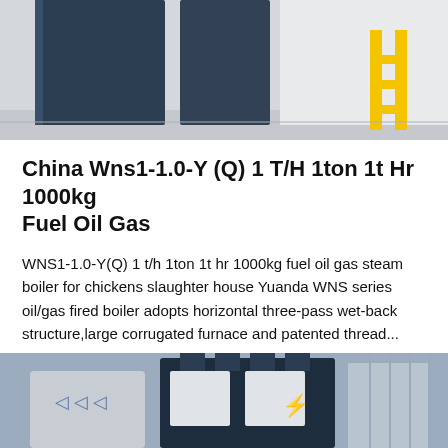[Figure (photo): Photo of industrial boiler equipment installed in a room — navy blue panel on the left, white walls, yellow metal stand visible on the right side.]
China Wns1-1.0-Y (Q) 1 T/H 1ton 1t Hr 1000kg Fuel Oil Gas
WNS1-1.0-Y(Q) 1 t/h 1ton 1t hr 1000kg fuel oil gas steam boiler for chickens slaughter house Yuanda WNS series oil/gas fired boiler adopts horizontal three-pass wet-back structure,large corrugated furnace and patented thread...
[Figure (other): Button element reading 'Get Price' with blue rounded background.]
[Figure (photo): Photo of dark-colored industrial boiler units in an installation setting, with equipment containers visible.]